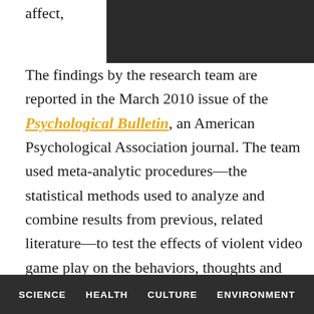[Figure (photo): Dark/black redacted image block at top of page]
affect, [truncated] The findings by the research team are reported in the March 2010 issue of the Psychological Bulletin, an American Psychological Association journal. The team used meta-analytic procedures—the statistical methods used to analyze and combine results from previous, related literature—to test the effects of violent video game play on the behaviors, thoughts and feelings of the individuals, ranging from elementary school-aged children to college undergraduates.
The research also included new longitudinal data that provided further confirmation that playing violent video games is a causal risk factor for long-term harmful
SCIENCE   HEALTH   CULTURE   ENVIRONMENT